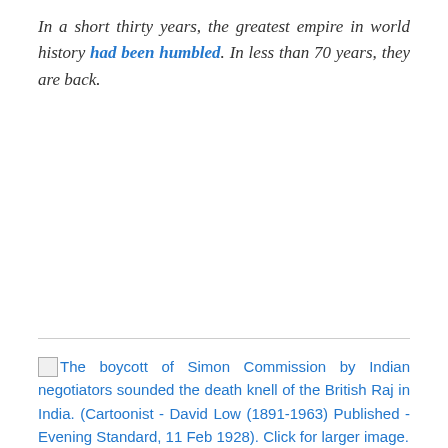In a short thirty years, the greatest empire in world history had been humbled. In less than 70 years, they are back.
The boycott of Simon Commission by Indian negotiators sounded the death knell of the British Raj in India. (Cartoonist - David Low (1891-1963) Published - Evening Standard, 11 Feb 1928). Click for larger image.